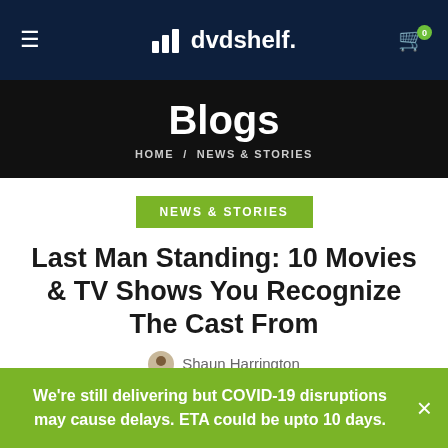dvdshelf.
Blogs
HOME / NEWS & STORIES
NEWS & STORIES
Last Man Standing: 10 Movies & TV Shows You Recognize The Cast From
Shaun Harrington
Tim Allen is far from the only recognizable face in Last Man
We're still delivering but COVID-19 disruptions may cause delays. ETA could be upto 10 days.